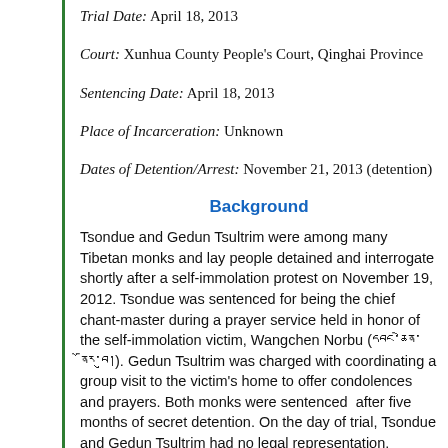Trial Date: April 18, 2013
Court: Xunhua County People's Court, Qinghai Province
Sentencing Date: April 18, 2013
Place of Incarceration: Unknown
Dates of Detention/Arrest: November 21, 2013 (detention)
Background
Tsondue and Gedun Tsultrim were among many Tibetan monks and lay people detained and interrogate shortly after a self-immolation protest on November 19, 2012. Tsondue was sentenced for being the chief chant-master during a prayer service held in honor of the self-immolation victim, Wangchen Norbu (དབང་ཆེན་ནོར་བུ།). Gedun Tsultrim was charged with coordinating a group visit to the victim's home to offer condolences and prayers. Both monks were sentenced after five months of secret detention. On the day of trial, Tsondue and Gedun Tsultrim had no legal representation.
Tsondue, who is about 27 years old, and Gedun Tsultrim,